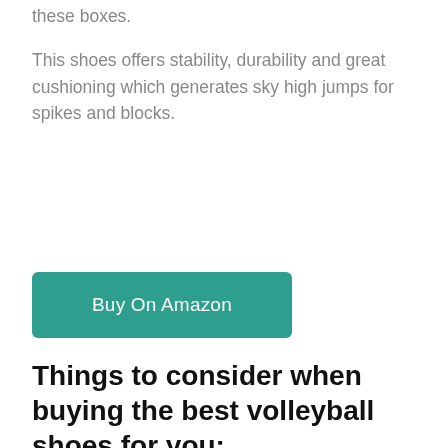these boxes.
This shoes offers stability, durability and great cushioning which generates sky high jumps for spikes and blocks.
[Figure (other): Teal/green 'Buy On Amazon' button]
Things to consider when buying the best volleyball shoes for you: